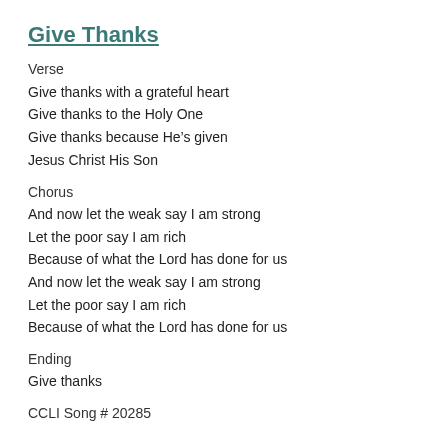Give Thanks
Verse
Give thanks with a grateful heart
Give thanks to the Holy One
Give thanks because He’s given
Jesus Christ His Son
Chorus
And now let the weak say I am strong
Let the poor say I am rich
Because of what the Lord has done for us
And now let the weak say I am strong
Let the poor say I am rich
Because of what the Lord has done for us
Ending
Give thanks
CCLI Song # 20285